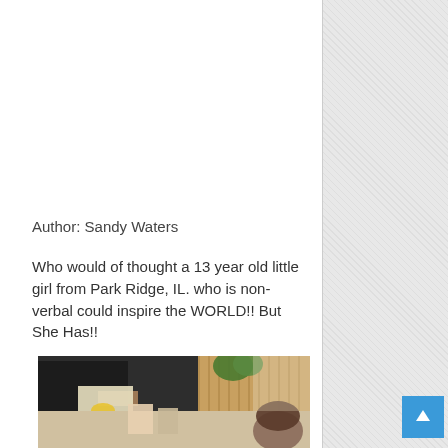Author: Sandy Waters
Who would of thought a 13 year old little girl from Park Ridge, IL. who is non-verbal could inspire the WORLD!!  But She Has!!
[Figure (photo): Photo of a person at an outdoor event, appearing to be engaged in an activity with art or painting, with wooden slat background and greenery visible]